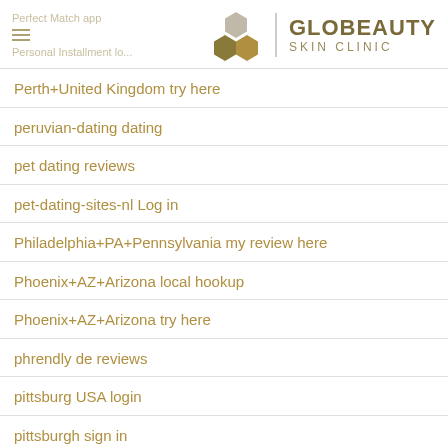Perfect Match app | GLOBEAUTY SKIN CLINIC
Perth+United Kingdom try here
peruvian-dating dating
pet dating reviews
pet-dating-sites-nl Log in
Philadelphia+PA+Pennsylvania my review here
Phoenix+AZ+Arizona local hookup
Phoenix+AZ+Arizona try here
phrendly de reviews
pittsburg USA login
pittsburgh sign in
Pittsburgh+US+Pennsylvania try here